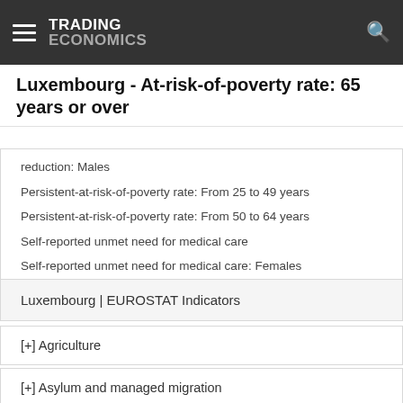TRADING ECONOMICS
Luxembourg - At-risk-of-poverty rate: 65 years or over
reduction: Males
Persistent-at-risk-of-poverty rate: From 25 to 49 years
Persistent-at-risk-of-poverty rate: From 50 to 64 years
Self-reported unmet need for medical care
Self-reported unmet need for medical care: Females
Self-reported unmet need for medical care: Males
Luxembourg | EUROSTAT Indicators
[+] Agriculture
[+] Asylum and managed migration
[+] Balance of payments statistics and International investment positions (BPM6)